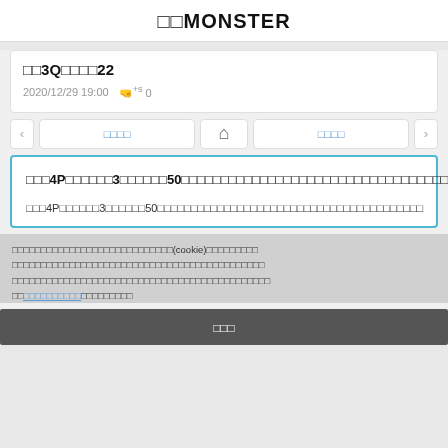□□MONSTER
□□3Q□□□□22
2020/12/29 19:00   🤜 0
< □□□□  🏠  □□□□ >
□□□4P□□□□□□3□□□□□□50□□□□□□□□□□□□□□□□□□□□□□□□□□□
□□□4P□□□□□□3□□□□□□50□□□□□□□□□□□□□□□□□□□
□□□□□□□□□□□□□□□□□□□□□□□□□□□□(cookie)□□□□□□□□□□□□□□□□□□□□□□□□□□□□□□□□□□□□□□□□□□□□□□□□□□□□□□□□□□□□□□□□□□□□□□□□□□□□□□□□□□□□□□□□□□□□□□□□□□□□□□□□□□□□□□□□□□□□□□□□□□□□□□□□□□□□□□□□□□□□□□□□□□ https://□□□□□□□□□□ □□□□□□□□□
□□